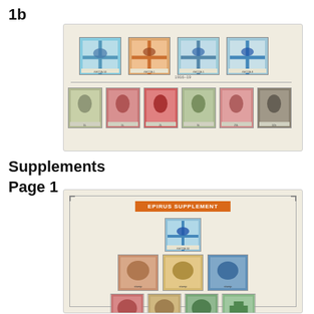1b
[Figure (photo): Stamp album page showing Epirus stamps: top row of four blue/teal flag design stamps with bird motif labeled ΛΕΠΤΑ, and bottom row of six portrait/figure stamps in green, pink, red, olive, pink and brown colors]
Supplements
Page 1
[Figure (photo): Stamp album page labeled 'EPIRUS SUPPLEMENT' with orange title bar. Contains rows of stamps: one blue flag stamp at top center, three mixed stamps in second row, four stamps in third row (pink, tan, green, green/cross), and four circular design stamps in bottom row]